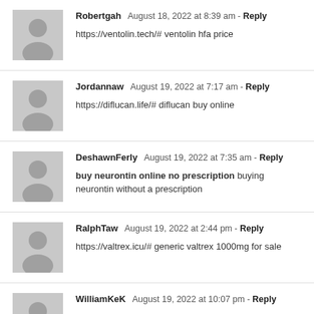Robertgah  August 18, 2022 at 8:39 am - Reply
https://ventolin.tech/# ventolin hfa price
Jordannaw  August 19, 2022 at 7:17 am - Reply
https://diflucan.life/# diflucan buy online
DeshawnFerly  August 19, 2022 at 7:35 am - Reply
buy neurontin online no prescription buying neurontin without a prescription
RalphTaw  August 19, 2022 at 2:44 pm - Reply
https://valtrex.icu/# generic valtrex 1000mg for sale
WilliamKeK  August 19, 2022 at 10:07 pm - Reply